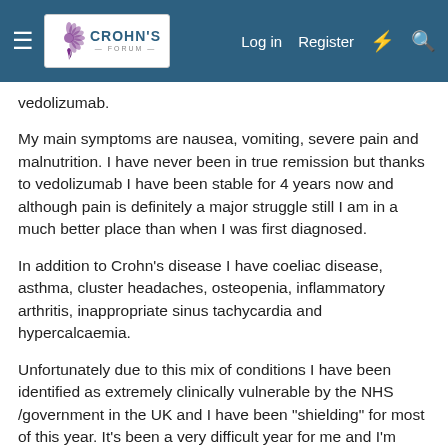Crohn's Forum — Log in | Register
vedolizumab.
My main symptoms are nausea, vomiting, severe pain and malnutrition. I have never been in true remission but thanks to vedolizumab I have been stable for 4 years now and although pain is definitely a major struggle still I am in a much better place than when I was first diagnosed.
In addition to Crohn's disease I have coeliac disease, asthma, cluster headaches, osteopenia, inflammatory arthritis, inappropriate sinus tachycardia and hypercalcaemia.
Unfortunately due to this mix of conditions I have been identified as extremely clinically vulnerable by the NHS /government in the UK and I have been "shielding" for most of this year. It's been a very difficult year for me and I'm sure it has for many of you too. My mobility has been getting progressively worse and I'm relying on crutches more and more, as well as wheelchairs when on longer days out (or even just getting around a